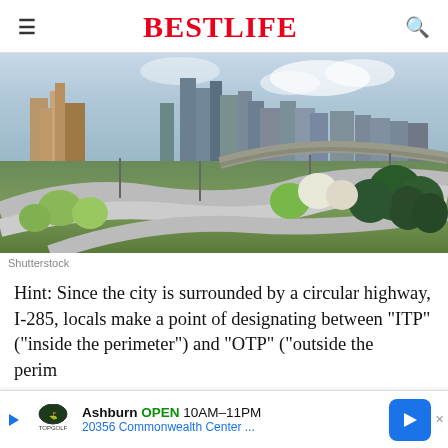BESTLIFE
[Figure (photo): Aerial view of Atlanta city skyline with curved highway interchange I-285 in the foreground, spring trees and green landscaping visible]
Shutterstock
Hint: Since the city is surrounded by a circular highway, I-285, locals make a point of designating between "ITP" ("inside the perimeter") and "OTP" ("outside the perim...
Ashburn OPEN 10AM–11PM 20356 Commonwealth Center ...